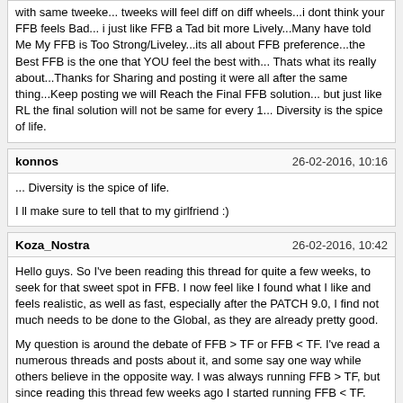with same tweeke... tweeks will feel diff on diff wheels...i dont think your FFB feels Bad... i just like FFB a Tad bit more Lively...Many have told Me My FFB is Too Strong/Liveley...its all about FFB preference...the Best FFB is the one that YOU feel the best with... Thats what its really about...Thanks for Sharing and posting it were all after the same thing...Keep posting we will Reach the Final FFB solution... but just like RL the final solution will not be same for every 1... Diversity is the spice of life.
konnos
26-02-2016, 10:16
... Diversity is the spice of life.

I ll make sure to tell that to my girlfriend :)
Koza_Nostra
26-02-2016, 10:42
Hello guys. So I've been reading this thread for quite a few weeks, to seek for that sweet spot in FFB. I now feel like I found what I like and feels realistic, as well as fast, especially after the PATCH 9.0, I find not much needs to be done to the Global, as they are already pretty good.

My question is around the debate of FFB > TF or FFB < TF. I've read a numerous threads and posts about it, and some say one way while others believe in the opposite way. I was always running FFB > TF, but since reading this thread few weeks ago I started running FFB < TF. What do you guys think since Patch 9.0?
I started running FFB > TF again, and it feels good, just want to see what you guys think..? The reason I started running FFB > TF again, because recent posts on other threads suggest it's the way to go again since Patch 9.0

Btw, I'm on Xbox1 driving with TX 458.

Cheers :)